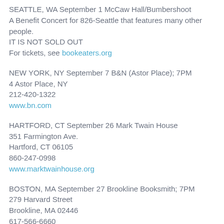SEATTLE, WA September 1 McCaw Hall/Bumbershoot
A Benefit Concert for 826-Seattle that features many other people.
IT IS NOT SOLD OUT
For tickets, see bookeaters.org
NEW YORK, NY September 7 B&N (Astor Place); 7PM
4 Astor Place, NY
212-420-1322
www.bn.com
HARTFORD, CT September 26 Mark Twain House
351 Farmington Ave.
Hartford, CT 06105
860-247-0998
www.marktwainhouse.org
BOSTON, MA September 27 Brookline Booksmith; 7PM
279 Harvard Street
Brookline, MA 02446
617-566-6660
www.brooklinebooksmith.com